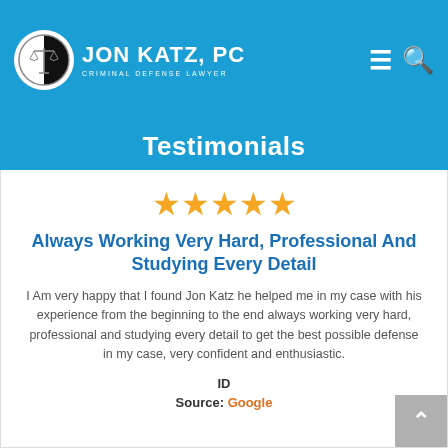JON KATZ, PC — CRIMINAL DEFENSE LAWYER
Testimonials
[Figure (other): Five gold star rating icons]
Always Working Very Hard, Professional And Studying Every Detail
I Am very happy that I found Jon Katz he helped me in my case with his experience from the beginning to the end always working very hard, professional and studying every detail to get the best possible defense in my case, very confident and enthusiastic.
ID
Source: Google